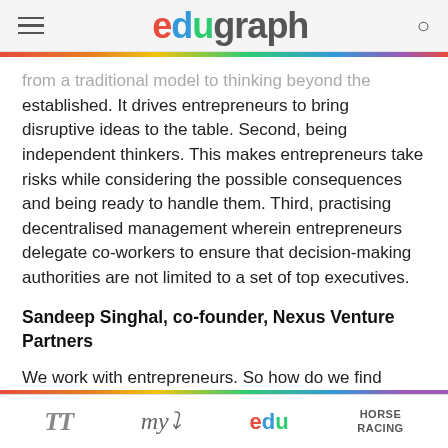edugraph
from a traditional model to thinking beyond the established. It drives entrepreneurs to bring disruptive ideas to the table. Second, being independent thinkers. This makes entrepreneurs take risks while considering the possible consequences and being ready to handle them. Third, practising decentralised management wherein entrepreneurs delegate co-workers to ensure that decision-making authorities are not limited to a set of top executives.
Sandeep Singhal, co-founder, Nexus Venture Partners
We work with entrepreneurs. So how do we find them? There are two ways to do it. One is the outreach
TT | my | edu | HORSE RACING